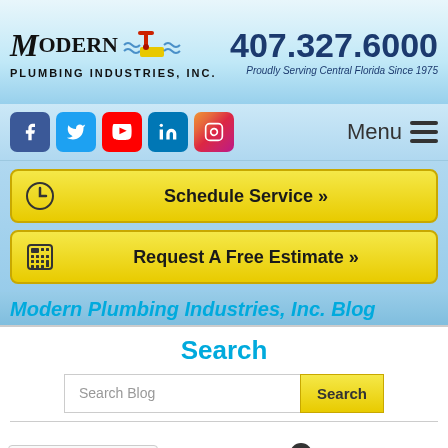[Figure (logo): Modern Plumbing Industries Inc. logo with pipe valve icon and wave lines]
407.327.6000
Proudly Serving Central Florida Since 1975
[Figure (infographic): Social media icons: Facebook, Twitter, YouTube, LinkedIn, Instagram]
Menu
Schedule Service »
Request A Free Estimate »
Modern Plumbing Industries, Inc. Blog
Search
Search Blog
[Figure (other): reCAPTCHA widget with Google logo, Privacy and Terms links]
Let's Talk
Archives